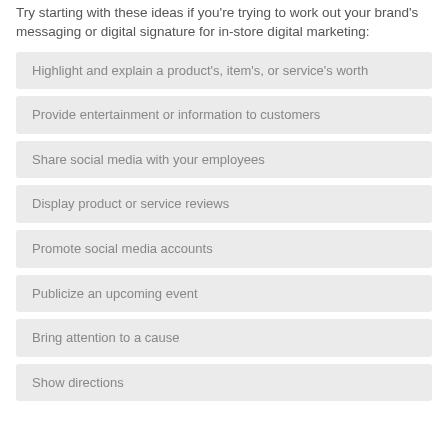Try starting with these ideas if you're trying to work out your brand's messaging or digital signature for in-store digital marketing:
Highlight and explain a product's, item's, or service's worth
Provide entertainment or information to customers
Share social media with your employees
Display product or service reviews
Promote social media accounts
Publicize an upcoming event
Bring attention to a cause
Show directions